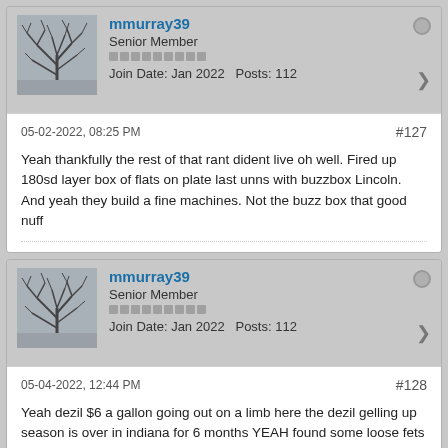[Figure (other): Forum post card 1: user avatar (tree photo), username mmurray39, Senior Member, join date Jan 2022, Posts 112, offline indicator, share icon]
05-02-2022, 08:25 PM #127 Yeah thankfully the rest of that rant dident live oh well. Fired up 180sd layer box of flats on plate last unns with buzzbox Lincoln. And yeah they build a fine machines. Not the buzz box that good nuff
[Figure (other): Forum post card 2: user avatar (tree photo), username mmurray39, Senior Member, join date Jan 2022, Posts 112, offline indicator, share icon]
05-04-2022, 12:44 PM #128 Yeah dezil $6 a gallon going out on a limb here the dezil gelling up season is over in indiana for 6 months YEAH found some loose fets soldering skills need work hate this board think I've said that before overall have really learned alot message to enyone without a degree in electronics your board repair Louisville KY PAYTheMoney its quicker